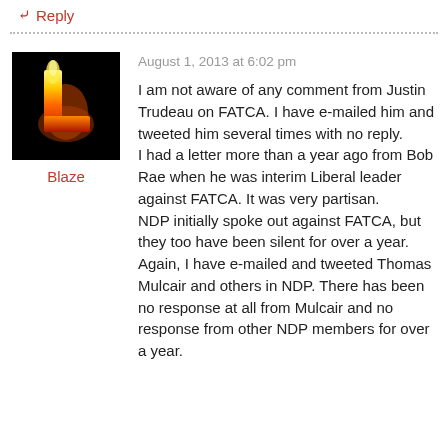↪ Reply
August 1, 2013 at 6:02 pm
[Figure (photo): Avatar image showing a flaming letter L on a black background]
Blaze
I am not aware of any comment from Justin Trudeau on FATCA. I have e-mailed him and tweeted him several times with no reply.
I had a letter more than a year ago from Bob Rae when he was interim Liberal leader against FATCA. It was very partisan.
NDP initially spoke out against FATCA, but they too have been silent for over a year. Again, I have e-mailed and tweeted Thomas Mulcair and others in NDP. There has been no response at all from Mulcair and no response from other NDP members for over a year.